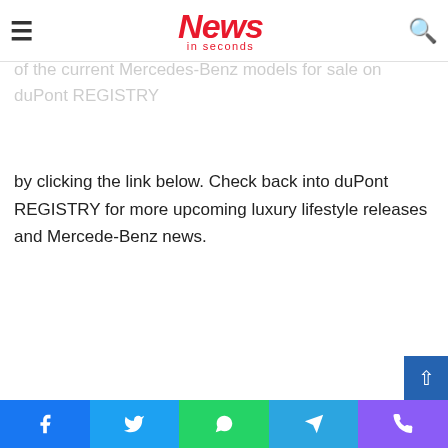News in seconds
the automotive market with its focus on art and creativity, blending a refined luxury experience. View all of the current Mercedes-Benz models for sale on duPont REGISTRY by clicking the link below. Check back into duPont REGISTRY for more upcoming luxury lifestyle releases and Mercede-Benz news.
Facebook | Twitter | WhatsApp | Telegram | Phone